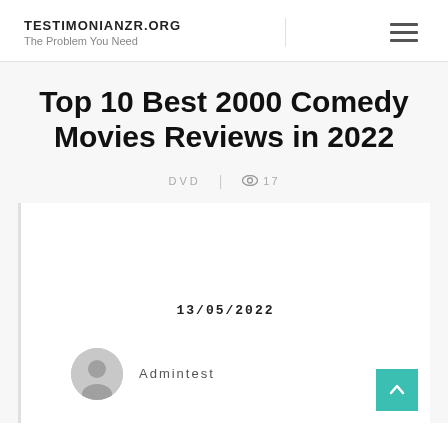TESTIMONIANZR.ORG — The Problem You Need
Top 10 Best 2000 Comedy Movies Reviews in 2022
DVD  |  17
13/05/2022
Admintest